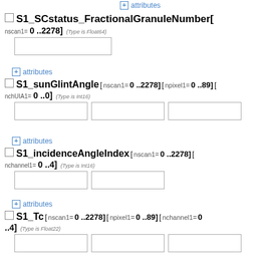+ attributes
S1_SCstatus_FractionalGranuleNumber[ nscan1= 0 ..2278] (Type is Float64)
+ attributes
S1_sunGlintAngle[ nscan1= 0 ..2278] [ npixel1= 0 ..89] [ nchUIA1= 0 ..0] (Type is Int16)
+ attributes
S1_incidenceAngleIndex[ nscan1= 0 ..2278] [ nchannel1= 0 ..4] (Type is Int16)
+ attributes
S1_Tc[ nscan1= 0 ..2278] [ npixel1= 0 ..89] [ nchannel1= 0 ..4] (Type is Float22)
+ attributes
S1_Quality[ nscan1= 0 ..2278] [ npixel1= 0 ..89] (Type is Int16)
+ attributes
S1_incidenceAngle[ nscan1= 0 ..2278] [ npixel1= 0 ..89] [ nchUIA1= 0 ..0] (Type is Float32)